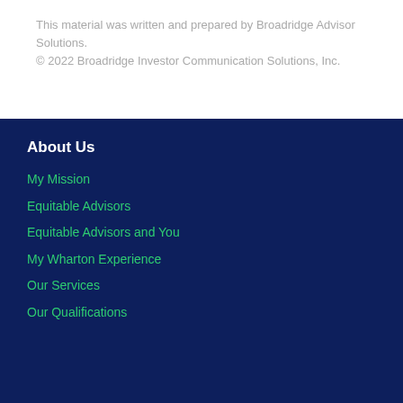This material was written and prepared by Broadridge Advisor Solutions.
© 2022 Broadridge Investor Communication Solutions, Inc.
About Us
My Mission
Equitable Advisors
Equitable Advisors and You
My Wharton Experience
Our Services
Our Qualifications